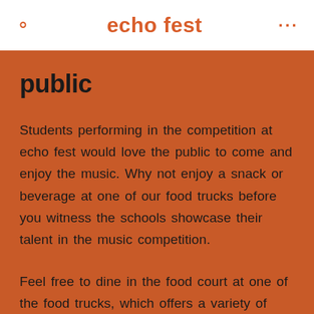echo fest
public
Students performing in the competition at echo fest would love the public to come and enjoy the music. Why not enjoy a snack or beverage at one of our food trucks before you witness the schools showcase their talent in the music competition.
Feel free to dine in the food court at one of the food trucks, which offers a variety of culinary delights before you experience one of our